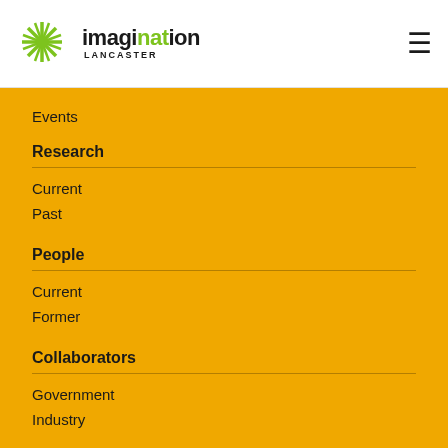[Figure (logo): Imagination Lancaster logo with green starburst icon and text 'imagination LANCASTER']
Events
Research
Current
Past
People
Current
Former
Collaborators
Government
Industry